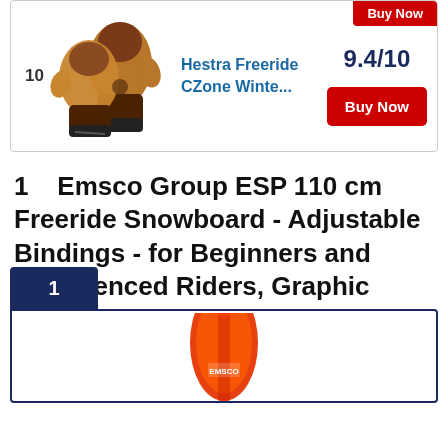[Figure (photo): Product listing card showing brown/tan leather winter mittens (Hestra Freeride CZone) with number 10, score 9.4/10, and Buy Now button]
1   Emsco Group ESP 110 cm Freeride Snowboard - Adjustable Bindings - for Beginners and Experienced Riders, Graphic
[Figure (photo): Product listing card number 1 showing partial view of a red/orange graphic snowboard (Emsco Group ESP), with navy border and rank badge]